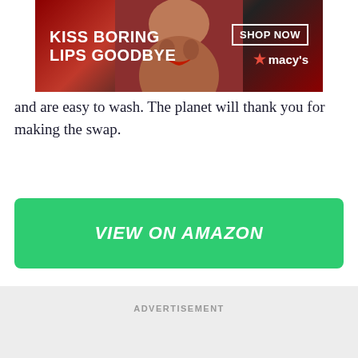[Figure (photo): Macy's advertisement banner showing a woman with red lips, text 'KISS BORING LIPS GOODBYE', 'SHOP NOW', and Macy's star logo]
and are easy to wash. The planet will thank you for making the swap.
VIEW ON AMAZON
ADVERTISEMENT